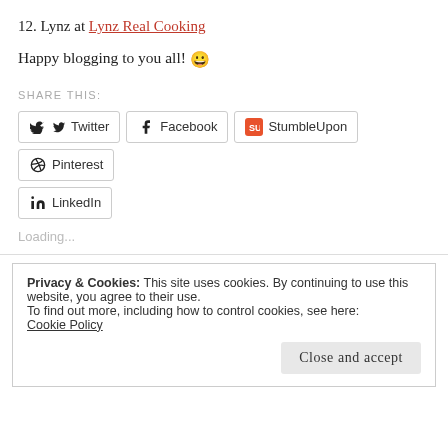12. Lynz at Lynz Real Cooking
Happy blogging to you all! 😀
SHARE THIS:
Twitter  Facebook  StumbleUpon  Pinterest  LinkedIn
Loading...
Privacy & Cookies: This site uses cookies. By continuing to use this website, you agree to their use.
To find out more, including how to control cookies, see here:
Cookie Policy

Close and accept